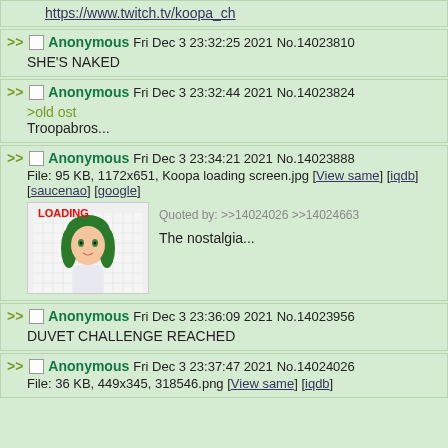https://www.twitch.tv/koopa_ch
Anonymous Fri Dec 3 23:32:25 2021 No.14023810 — SHE'S NAKED
Anonymous Fri Dec 3 23:32:44 2021 No.14023824 — >old ost Troopabros...
Anonymous Fri Dec 3 23:34:21 2021 No.14023888 — File: 95 KB, 1172x651, Koopa loading screen.jpg [View same] [iqdb] [saucenao] [google] — The nostalgia...
Anonymous Fri Dec 3 23:36:09 2021 No.14023956 — DUVET CHALLENGE REACHED
Anonymous Fri Dec 3 23:37:47 2021 No.14024026 — File: 36 KB, 449x345, 318546.png [View same] [iqdb]